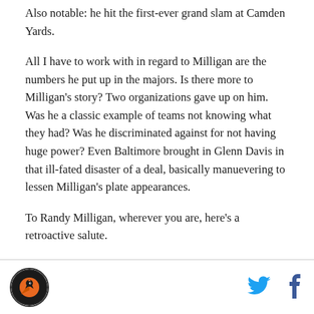Also notable: he hit the first-ever grand slam at Camden Yards.
All I have to work with in regard to Milligan are the numbers he put up in the majors. Is there more to Milligan's story? Two organizations gave up on him. Was he a classic example of teams not knowing what they had? Was he discriminated against for not having huge power? Even Baltimore brought in Glenn Davis in that ill-fated disaster of a deal, basically manuevering to lessen Milligan's plate appearances.
To Randy Milligan, wherever you are, here's a retroactive salute.
[Figure (logo): Circular logo with orange hawk/bird graphic on dark background]
[Figure (illustration): Twitter bird icon in light blue]
[Figure (illustration): Facebook f icon in dark blue]